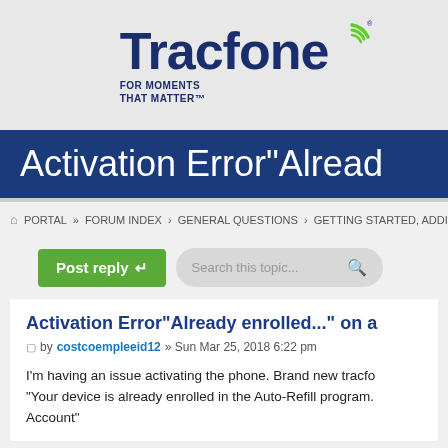[Figure (logo): Tracfone logo with circular signal icon and tagline FOR MOMENTS THAT MATTER™]
Activation Error"Alread
PORTAL » FORUM INDEX › GENERAL QUESTIONS › GETTING STARTED, ADDING AIRTIM
Activation Error"Already enrolled..." on a
by costcoempleeid12 » Sun Mar 25, 2018 6:22 pm
I'm having an issue activating the phone. Brand new tracfo "Your device is already enrolled in the Auto-Refill program. Account"